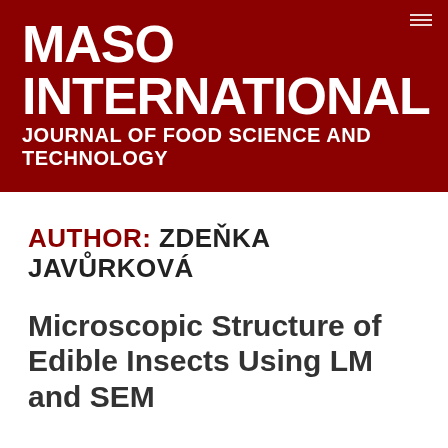MASO INTERNATIONAL
JOURNAL OF FOOD SCIENCE AND TECHNOLOGY
AUTHOR: ZDEŇKA JAVŮRKOVÁ
Microscopic Structure of Edible Insects Using LM and SEM